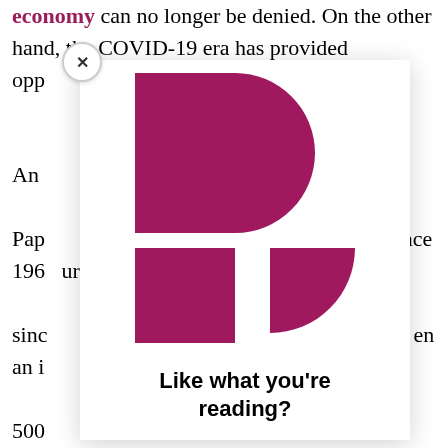economy can no longer be denied. On the other hand, the COVID-19 era has provided opportunities for rethinking and covering more livelihood places the report. An analysis of the Paper which had measures proposed since 1969 urgently more broadly and the UN since publication billion has been an initiative the people places 500 billion dollars ed travel monthly for the journey from the government
[Figure (logo): Pandora Papers / ICIJ style logo made of magenta/dark pink geometric shapes: a top shape with a rectangle and semicircle forming a 'P', and a bottom portion with a rectangle and a smaller quarter-circle, forming a stylized 'P' letterform logo.]
Like what you're reading?